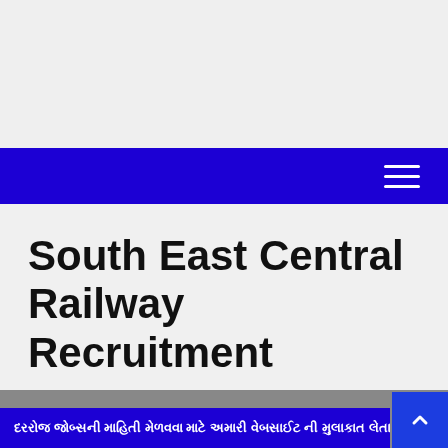South East Central Railway Recruitment
© April 12, 2020 by admin
દરરોજ જોબ્સની માહિતી મેળવવા માટે અમારી વેબસાઈટ ની મુલાકાત લેતા રહ